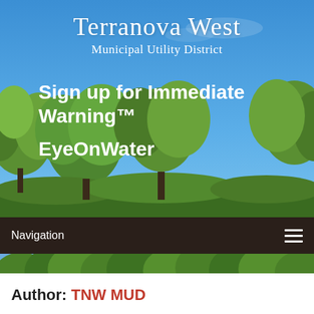[Figure (photo): Website header banner with blue sky and tree foliage background for Terranova West Municipal Utility District. Text overlay reads 'Terranova West Municipal Utility District' and 'Sign up for Immediate Warning™ EyeOnWater']
Terranova West
Municipal Utility District
Sign up for Immediate Warning™
EyeOnWater
Navigation
[Figure (photo): Photograph of a park with green trees and open grass area under blue sky]
Author: TNW MUD